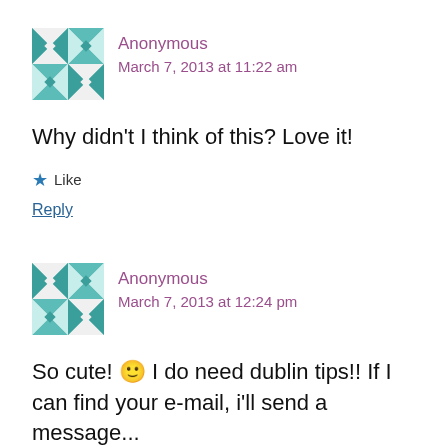Anonymous
March 7, 2013 at 11:22 am
Why didn't I think of this? Love it!
★ Like
Reply
Anonymous
March 7, 2013 at 12:24 pm
So cute! 🙂 I do need dublin tips!! If I can find your e-mail, i'll send a message...
★ Like